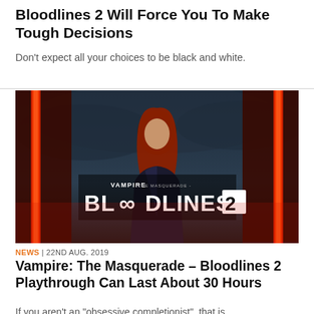Bloodlines 2 Will Force You To Make Tough Decisions
Don't expect all your choices to be black and white.
[Figure (photo): Promotional key art for Vampire: The Masquerade – Bloodlines 2, featuring a character with long red hair standing in front of red neon light structures with the game logo overlaid.]
NEWS | 22ND AUG. 2019
Vampire: The Masquerade – Bloodlines 2 Playthrough Can Last About 30 Hours
If you aren't an "obsessive completionist", that is.
[Figure (photo): Partial dark photograph showing what appears to be a bicycle wheel in a dimly lit environment.]